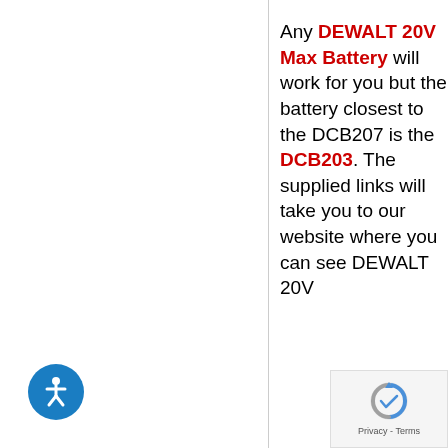Any DEWALT 20V Max Battery will work for you but the battery closest to the DCB207 is the DCB203. The supplied links will take you to our website where you can see DEWALT 20V
[Figure (other): Blue circular accessibility button with white wheelchair/person icon]
[Figure (other): reCAPTCHA Privacy - Terms badge in bottom right corner]